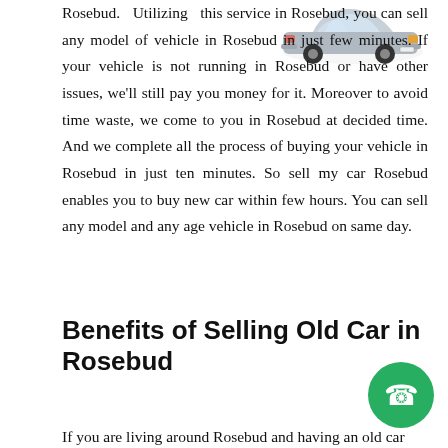[Figure (illustration): Silver car illustration, top-right portion of page, partial view]
Rosebud. Utilizing this service in Rosebud, you can sell any model of vehicle in Rosebud in just few minutes. If your vehicle is not running in Rosebud or have other issues, we'll still pay you money for it. Moreover to avoid time waste, we come to you in Rosebud at decided time. And we complete all the process of buying your vehicle in Rosebud in just ten minutes. So sell my car Rosebud enables you to buy new car within few hours. You can sell any model and any age vehicle in Rosebud on same day.
Benefits of Selling Old Car in Rosebud
[Figure (illustration): Green circular phone/call button icon, bottom right]
If you are living around Rosebud and having an old car